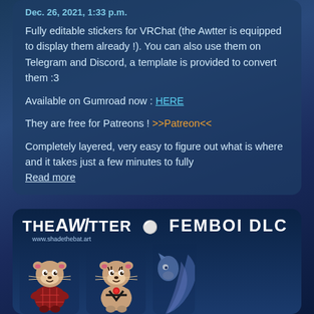Dec. 26, 2021, 1:33 p.m.
Fully editable stickers for VRChat (the Awtter is equipped to display them already !). You can also use them on Telegram and Discord, a template is provided to convert them :3
Available on Gumroad now : HERE
They are free for Patreons ! >>Patreon<<
Completely layered, very easy to figure out what is where and it takes just a few minutes to fully...
Read more
[Figure (illustration): The Awtter Femboi DLC banner showing cartoon otter characters with the title 'THE AWTTER FEMBOI DLC' and website www.shadethebat.art]